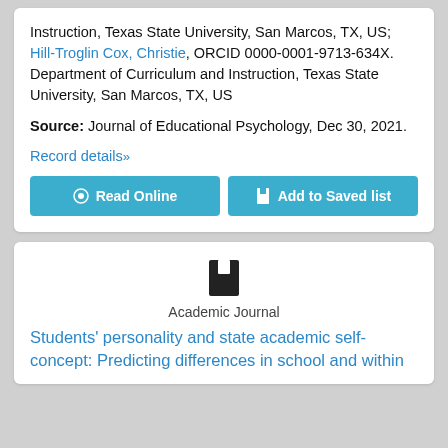Instruction, Texas State University, San Marcos, TX, US; Hill-Troglin Cox, Christie, ORCID 0000-0001-9713-634X. Department of Curriculum and Instruction, Texas State University, San Marcos, TX, US
Source: Journal of Educational Psychology, Dec 30, 2021.
Record details»
Read Online
Add to Saved list
Academic Journal
Students' personality and state academic self-concept: Predicting differences in school and within